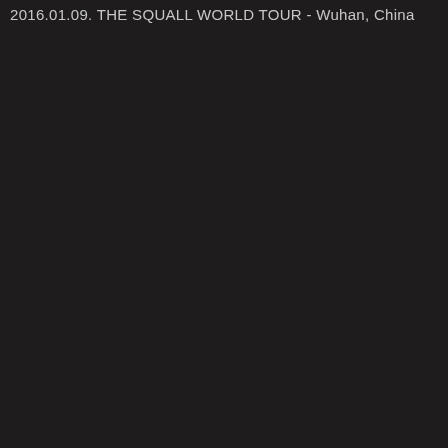2016.01.09. THE SQUALL WORLD TOUR - Wuhan, China